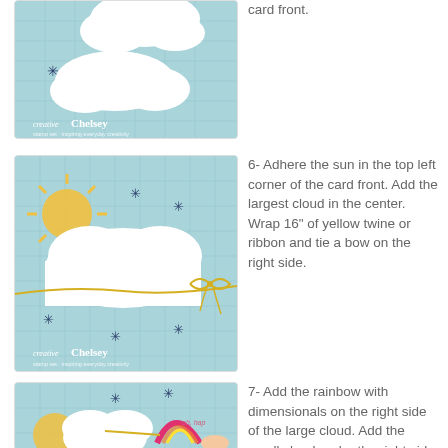[Figure (photo): Photo of card front with white cloud cutouts on light blue background]
card front.
[Figure (photo): Photo of card front showing sun in top left corner, large cloud in center, yellow twine bow on right side, dark star accents on blue background]
6- Adhere the sun in the top left corner of the card front. Add the largest cloud in the center. Wrap 16" of yellow twine or ribbon and tie a bow on the right side.
[Figure (photo): Photo of card front showing rainbow with dimensionals on right side of large cloud, small cloud being placed under right side of rainbow]
7- Add the rainbow with dimensionals on the right side of the large cloud. Add the small cloud under the right side of the rainbow. Add the